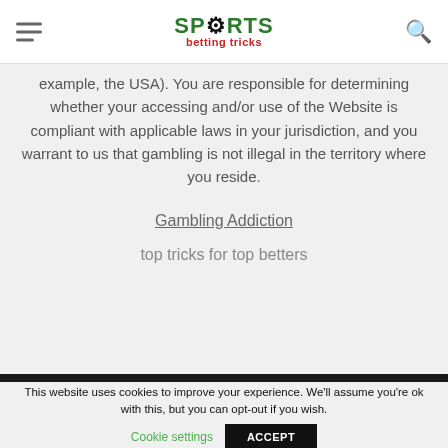SPORTS betting tricks
example, the USA). You are responsible for determining whether your accessing and/or use of the Website is compliant with applicable laws in your jurisdiction, and you warrant to us that gambling is not illegal in the territory where you reside.
Gambling Addiction
top tricks for top betters
This website uses cookies to improve your experience. We'll assume you're ok with this, but you can opt-out if you wish.
Cookie settings   ACCEPT